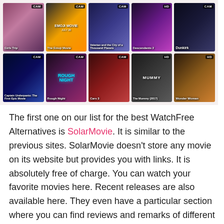[Figure (other): A 2x5 grid of movie poster thumbnails showing Girls Trip, The Emoji Movie, Valerian and the City of a Thousand Planets, Descendants 2, Dunkirk (top row) and Captain Underpants: The First Epic Movie, Rough Night, Cars 3, The Mummy (2017), Wonder Woman (bottom row). Each thumbnail has a CAM or HD badge in the top-right corner and a title overlay at the bottom.]
The first one on our list for the best WatchFree Alternatives is SolarMovie. It is similar to the previous sites. SolarMovie doesn't store any movie on its website but provides you with links. It is absolutely free of charge. You can watch your favorite movies here. Recent releases are also available here. They even have a particular section where you can find reviews and remarks of different movies left